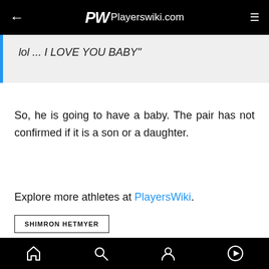Playerswiki.com
lol ... I LOVE YOU BABY"
So, he is going to have a baby. The pair has not confirmed if it is a son or a daughter.
Explore more athletes at PlayersWiki.
SHIMRON HETMYER
VIDEOS
bottom navigation bar